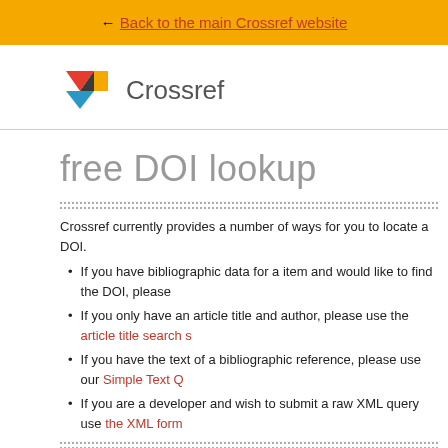← Back to the main Crossref website
[Figure (logo): Crossref logo with geometric arrow/chevron shape in red, yellow, and blue, followed by the text 'Crossref']
free DOI lookup
Crossref currently provides a number of ways for you to locate a DOI.
If you have bibliographic data for a item and would like to find the DOI, please
If you only have an article title and author, please use the article title search s
If you have the text of a bibliographic reference, please use our Simple Text Q
If you are a developer and wish to submit a raw XML query use the XML form
Bibliographic metadata sea
This form is a guest query interface to the Crossref system for individual DOI retrieva